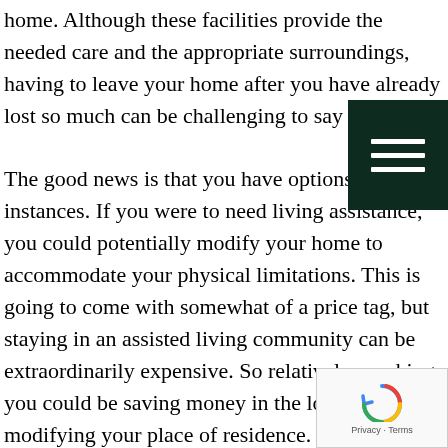home. Although these facilities provide the needed care and the appropriate surroundings, having to leave your home after you have already lost so much can be challenging to say the least. The good news is that you have options in many instances. If you were to need living assistance, you could potentially modify your home to accommodate your physical limitations. This is going to come with somewhat of a price tag, but staying in an assisted living community can be extraordinarily expensive. So relatively speaking, you could be saving money in the long run by modifying your place of residence. As for assistance with your day-to-day needs, there are home health aides and homemaker/companions that
[Figure (other): Dark green hamburger menu icon (three horizontal white lines on dark green background)]
[Figure (other): reCAPTCHA widget with Privacy and Terms text]